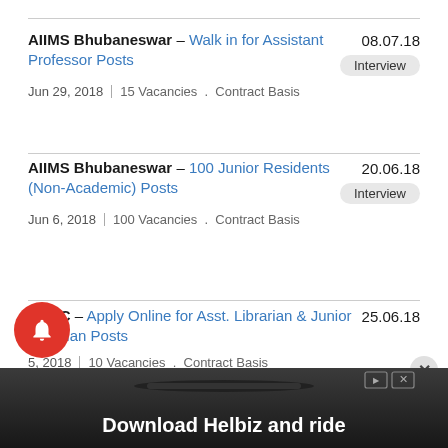AIIMS Bhubaneswar – Walk in for Assistant Professor Posts | Jun 29, 2018 | 15 Vacancies . Contract Basis | 08.07.18 | Interview
AIIMS Bhubaneswar – 100 Junior Residents (Non-Academic) Posts | Jun 6, 2018 | 100 Vacancies . Contract Basis | 20.06.18 | Interview
OSSC – Apply Online for Asst. Librarian & Junior Librarian Posts | [Jun 5], 2018 | 10 Vacancies . Contract Basis | 25.06.18
[Figure (screenshot): Advertisement banner: 'Download Helbiz and ride' with a scooter image in background, dark background, ad badge top-right]